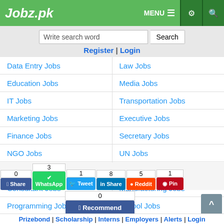Jobz.pk
Write search word | Search
Register | Login
Data Entry Jobs | Law Jobs
Education Jobs | Media Jobs
IT Jobs | Transportation Jobs
Marketing Jobs | Executive Jobs
Finance Jobs | Secretary Jobs
NGO Jobs | UN Jobs
Human Resource Jobs | Call Center Jobs
Consultant Jobs | Manufacturing Jobs
Programming Jobs | School Jobs
Research Jobs | Legal Jobs
Close x
0 Share | 3 WhatsApp | 1 Tweet | 8 Share | 5 Reddit | 1 Pin
0 Recommend
Prizebond | Scholarship | Interns | Employers | Alerts | Login